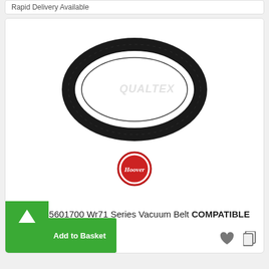Rapid Delivery Available
[Figure (photo): A black rubber vacuum belt (Hoover 35601700 Wr71 Series) shown as an oval loop on white background, with QUALTEX watermark. Below the belt is the red Hoover brand logo.]
Hoover 35601700 Wr71 Series Vacuum Belt COMPATIBLE